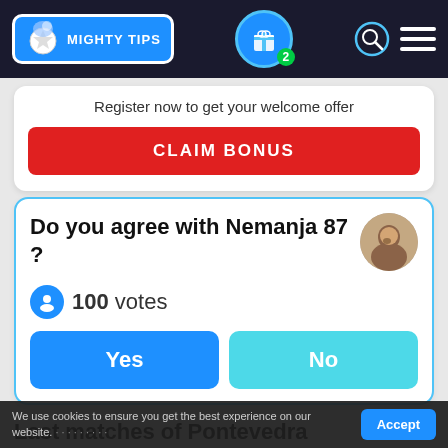[Figure (screenshot): Mighty Tips website header with logo, gift icon with badge 2, search and menu icons on dark background]
Register now to get your welcome offer
CLAIM BONUS
Do you agree with Nemanja 87 ?
100 votes
Yes
No
Last matches of Pontevedra
We use cookies to ensure you get the best experience on our website.
Accept